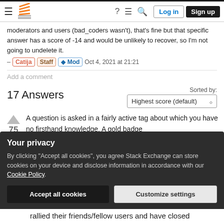Stack Exchange navigation bar with Log in and Sign up buttons
moderators and users (bad_coders wasn't), that's fine but that specific answer has a score of -14 and would be unlikely to recover, so I'm not going to undelete it.
– Catija Staff ◆Mod Oct 4, 2021 at 21:21
Add a comment
17 Answers
Sorted by: Highest score (default)
A question is asked in a fairly active tag about which you have no firsthand knowledge. A gold badge
Your privacy
By clicking "Accept all cookies", you agree Stack Exchange can store cookies on your device and disclose information in accordance with our Cookie Policy.
Accept all cookies   Customize settings
rallied their friends/fellow users and have closed